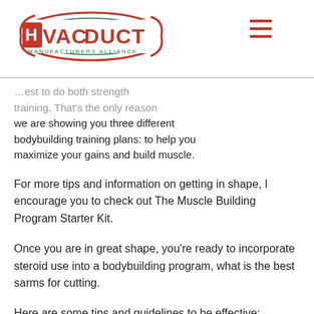HVAC DUCT MANUFACTURERS ALLIANCE
...to do both strength training. That's the only reason we are showing you three different bodybuilding training plans: to help you maximize your gains and build muscle.
For more tips and information on getting in shape, I encourage you to check out The Muscle Building Program Starter Kit.
Once you are in great shape, you're ready to incorporate steroid use into a bodybuilding program, what is the best sarms for cutting.
Here are some tips and guidelines to be effective:
Don't do steroids until you train hard and put on some size.
Do not start to use steroids before you are in